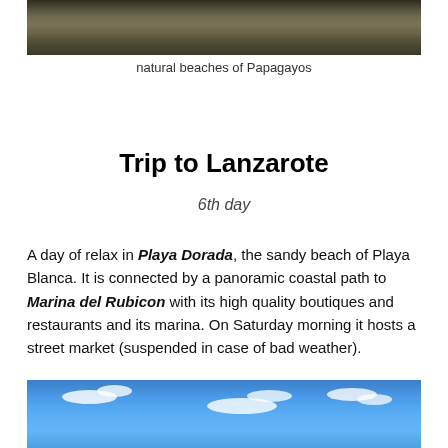[Figure (photo): Top portion of a rocky/volcanic landscape photo, cropped at top of page]
natural beaches of Papagayos
Trip to Lanzarote
6th day
A day of relax in Playa Dorada, the sandy beach of Playa Blanca. It is connected by a panoramic coastal path to Marina del Rubicon with its high quality boutiques and restaurants and its marina. On Saturday morning it hosts a street market (suspended in case of bad weather).
[Figure (photo): Blue sky with white clouds photo at the bottom of the page]